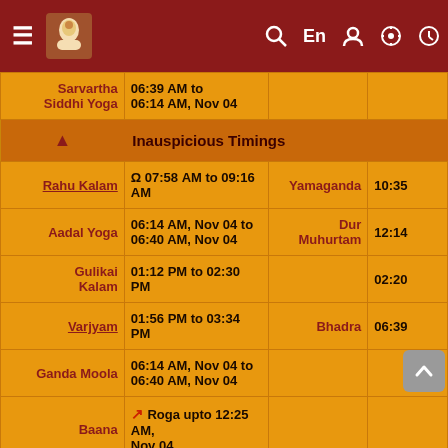Navigation bar with menu, logo, search, En, user, settings, clock icons
| Name | Timing | Name2 | Timing2 |
| --- | --- | --- | --- |
| Sarvartha Siddhi Yoga | 06:39 AM to 06:14 AM, Nov 04 |  |  |
| ▲ Inauspicious Timings |  |  |  |
| Rahu Kalam | Ω 07:58 AM to 09:16 AM | Yamaganda | 10:35 |
| Aadal Yoga | 06:14 AM, Nov 04 to 06:40 AM, Nov 04 | Dur Muhurtam | 12:14 |
| Gulikai Kalam | 01:12 PM to 02:30 PM |  | 02:20 |
| Varjyam | 01:56 PM to 03:34 PM | Bhadra | 06:39 |
| Ganda Moola | 06:14 AM, Nov 04 to 06:40 AM, Nov 04 |  |  |
| Baana | ↗ Roga upto 12:25 AM, Nov 04 |  |  |
| ▲ Anandadi and Tamil Yoga |  |  |  |
| Anandadi Yoga | ✓ Dhata upto 06:14 AM, Nov 04 | Tamil Yoga | Siddh Nov 0 |